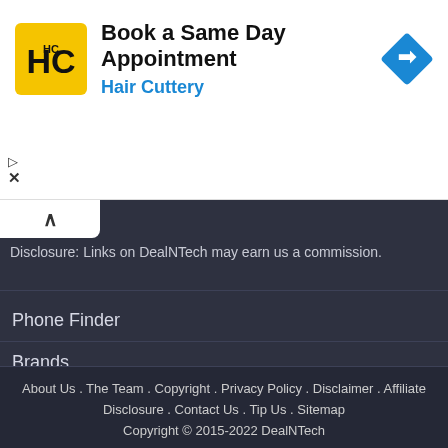[Figure (logo): Hair Cuttery advertisement banner with HC logo, text 'Book a Same Day Appointment' and 'Hair Cuttery', with navigation icon]
Disclosure: Links on DealNTech may earn us a commission.
Phone Finder
Brands
Compare
Mobile News
About Us . The Team . Copyright . Privacy Policy . Disclaimer . Affiliate Disclosure . Contact Us . Tip Us . Sitemap Copyright © 2015-2022 DealNTech